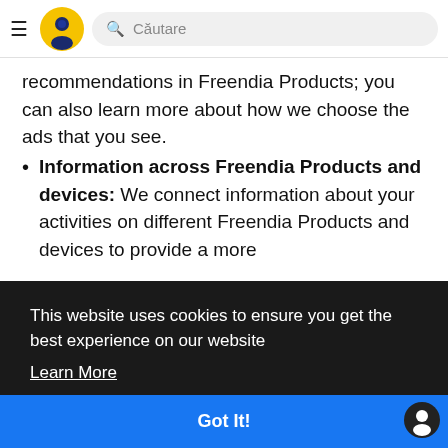Căutare
recommendations in Freendia Products; you can also learn more about how we choose the ads that you see.
Information across Freendia Products and devices: We connect information about your activities on different Freendia Products and devices to provide a more
This website uses cookies to ensure you get the best experience on our website
Learn More
Got It!